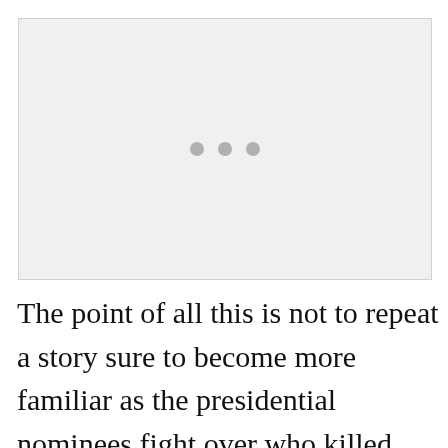[Figure (other): A light gray rectangular placeholder image with three small gray dots centered near the top portion of the box.]
The point of all this is not to repeat a story sure to become more familiar as the presidential nominees fight over who killed America's golden goose. The point is to note that what happened to us did not drop from the mesosphere. It was manufactured by a political